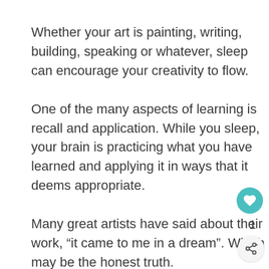Whether your art is painting, writing, building, speaking or whatever, sleep can encourage your creativity to flow.
One of the many aspects of learning is recall and application. While you sleep, your brain is practicing what you have learned and applying it in ways that it deems appropriate.
Many great artists have said about their work, “it came to me in a dream”. Which may be the honest truth.
But creativity is not relegated to art.